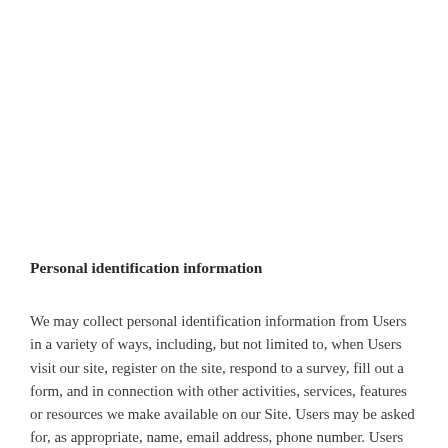Personal identification information
We may collect personal identification information from Users in a variety of ways, including, but not limited to, when Users visit our site, register on the site, respond to a survey, fill out a form, and in connection with other activities, services, features or resources we make available on our Site. Users may be asked for, as appropriate, name, email address, phone number. Users may, however, visit our